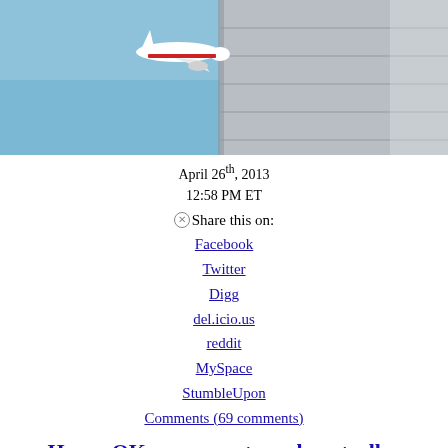[Figure (photo): Airplane flying in blue sky near a tall building with gray paneled facade]
April 26th, 2013
12:58 PM ET
Share this on:
Facebook
Twitter
Digg
del.icio.us
reddit
MySpace
StumbleUpon
Comments (69 comments)
House OKs measure to end controller furloughs
[Updated at 12:58 p.m. ET] In rare bipartisan accord, normally a...U.S. house advanced...